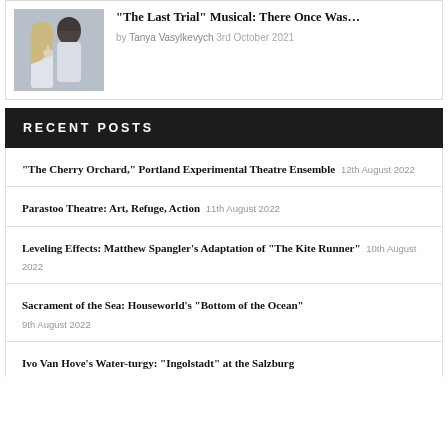[Figure (photo): Two people posing together in white robes, one with dark hair and one with light blonde hair making a shushing gesture]
“The Last Trial” Musical: There Once Was…
by Tanya Vasylkevych 3rd October 2021
RECENT POSTS
“The Cherry Orchard,” Portland Experimental Theatre Ensemble 12th August 2022
Parastoo Theatre: Art, Refuge, Action 11th August 2022
Leveling Effects: Matthew Spangler’s Adaptation of “The Kite Runner” 10th August 2022
Sacrament of the Sea: Houseworld’s “Bottom of the Ocean” 9th August 2022
Ivo Van Hove’s Water-turgy: “Ingolstadt” at the Salzburg